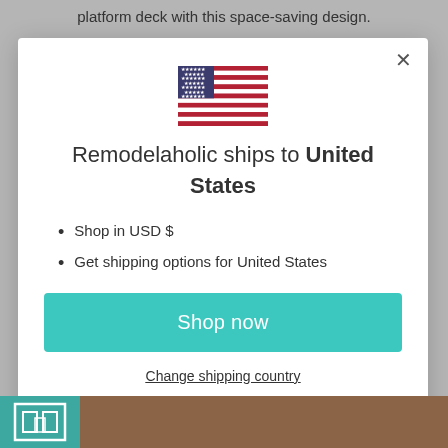platform deck with this space-saving design.
[Figure (illustration): US flag SVG illustration]
Remodelaholic ships to United States
Shop in USD $
Get shipping options for United States
Shop now
Change shipping country